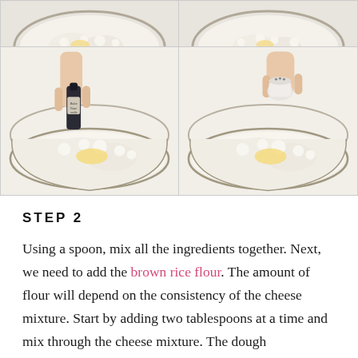[Figure (photo): Four-panel photo grid showing cooking steps: top two panels show bowl with white mixture (cropped tops visible), bottom two panels show a hand adding vanilla extract from a small dark bottle (left) and a hand adding salt from a small container (right) to a glass bowl with white cheese mixture and butter.]
STEP 2
Using a spoon, mix all the ingredients together. Next, we need to add the brown rice flour. The amount of flour will depend on the consistency of the cheese mixture. Start by adding two tablespoons at a time and mix through the cheese mixture. The dough